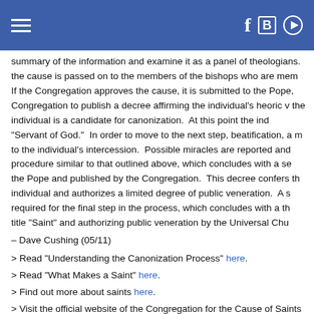summary of the information and examine it as a panel of theologians. If the cause is passed on to the members of the bishops who are members. If the Congregation approves the cause, it is submitted to the Pope, Congregation to publish a decree affirming the individual's heroic virtue; the individual is a candidate for canonization. At this point the individual is "Servant of God." In order to move to the next step, beatification, a miracle to the individual's intercession. Possible miracles are reported and procedure similar to that outlined above, which concludes with a second decree, the Pope and published by the Congregation. This decree confers the title on the individual and authorizes a limited degree of public veneration. A second miracle is required for the final step in the process, which concludes with a third decree conferring the title "Saint" and authorizing public veneration by the Universal Church.
– Dave Cushing (05/11)
> Read "Understanding the Canonization Process" here.
> Read "What Makes a Saint" here.
> Find out more about saints here.
> Visit the official website of the Congregation for the Cause of Saints here.
Moral Issues